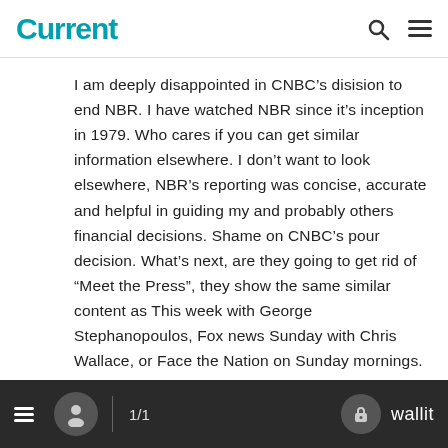Current
I am deeply disappointed in CNBC’s disision to end NBR. I have watched NBR since it’s inception in 1979. Who cares if you can get similar information elsewhere. I don’t want to look elsewhere, NBR’s reporting was concise, accurate and helpful in guiding my and probably others financial decisions. Shame on CNBC’s pour decision. What’s next, are they going to get rid of “Meet the Press”, they show the same similar content as This week with George Stephanopoulos, Fox news Sunday with Chris Wallace, or Face the Nation on Sunday mornings. NBR was informative and insightful, it should be brought back.
1/1   wallit